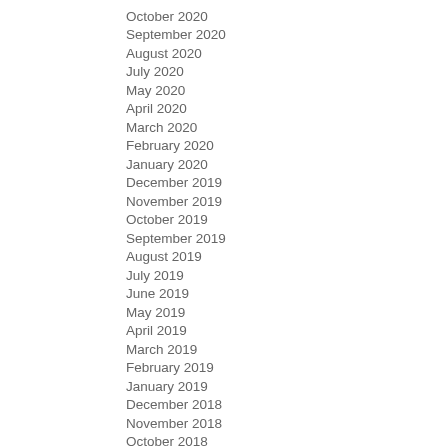October 2020
September 2020
August 2020
July 2020
May 2020
April 2020
March 2020
February 2020
January 2020
December 2019
November 2019
October 2019
September 2019
August 2019
July 2019
June 2019
May 2019
April 2019
March 2019
February 2019
January 2019
December 2018
November 2018
October 2018
September 2018
August 2018
July 2018
June 2018
May 2018